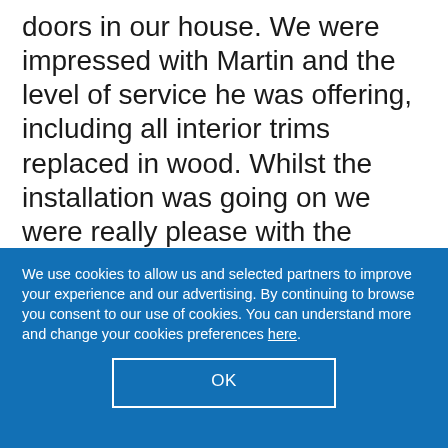doors in our house. We were impressed with Martin and the level of service he was offering, including all interior trims replaced in wood. Whilst the installation was going on we were really please with the attention to detail of the guys, and also the way they left the house each night, very tidy! The windows all look fantastic the fit was superb and the team were amazing. We were so pleased we opted for Evesham
We use cookies to allow us and selected partners to improve your experience and our advertising. By continuing to browse you consent to our use of cookies. You can understand more and change your cookies preferences here.